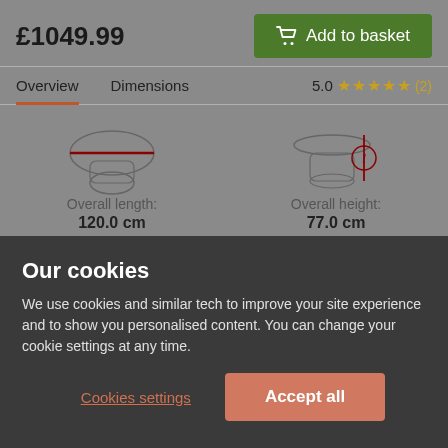£1049.99
Add to basket
Overview  Dimensions  5.0 ★★★★★ (2)
[Figure (illustration): Furniture dimension diagrams showing top-view table with diagonal red measurement line, and side-view table with height indicator]
Overall length: 120.0 cm
Overall height: 77.0 cm
Our cookies
We use cookies and similar tech to improve your site experience and to show you personalised content. You can change your cookie settings at any time.
Cookies settings
Accept all